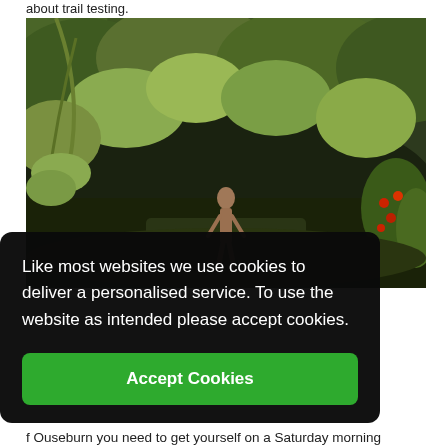about trail testing.
[Figure (photo): Outdoor forest/nature scene with dense green trees and shrubs, a dark shadowed area beneath, and a small human-like sculpture or figure standing in the centre foreground on the ground. Colourful red-berried plants visible on the right side.]
Like most websites we use cookies to deliver a personalised service. To use the website as intended please accept cookies.
Accept Cookies
f Ouseburn you need to get yourself on a Saturday morning